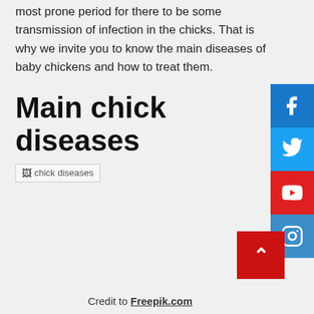most prone period for there to be some transmission of infection in the chicks. That is why we invite you to know the main diseases of baby chickens and how to treat them.
Main chick diseases
[Figure (photo): Broken image placeholder labeled 'chick diseases']
Credit to Freepik.com